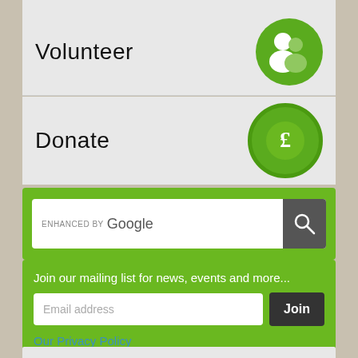Volunteer
Donate
[Figure (screenshot): Google enhanced search bar with search button]
Join our mailing list for news, events and more...
Email address
Join
Our Privacy Policy